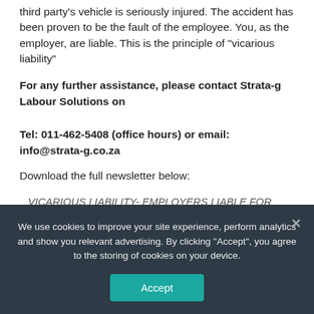third party's vehicle is seriously injured. The accident has been proven to be the fault of the employee. You, as the employer, are liable. This is the principle of "vicarious liability"
For any further assistance, please contact Strata-g Labour Solutions on

Tel: 011-462-5408 (office hours) or email: info@strata-g.co.za
Download the full newsletter below:
VICARIOUS LIABILITY- EMPLOYERS LIABLE FOR EMPLOYEES' ACTIONS
We use cookies to improve your site experience, perform analytics and show you relevant advertising. By clicking “Accept”, you agree to the storing of cookies on your device.